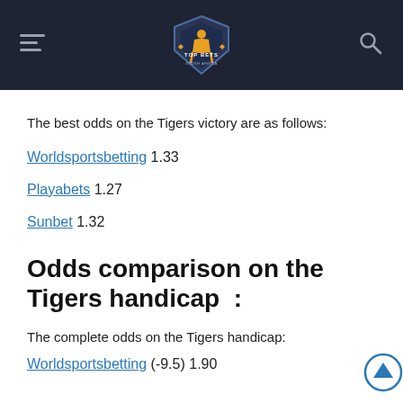TOP BETS SOUTH AFRICA (logo header)
The best odds on the Tigers victory are as follows:
Worldsportsbetting 1.33
Playabets 1.27
Sunbet 1.32
Odds comparison on the Tigers handicap  :
The complete odds on the Tigers handicap:
Worldsportsbetting (-9.5) 1.90